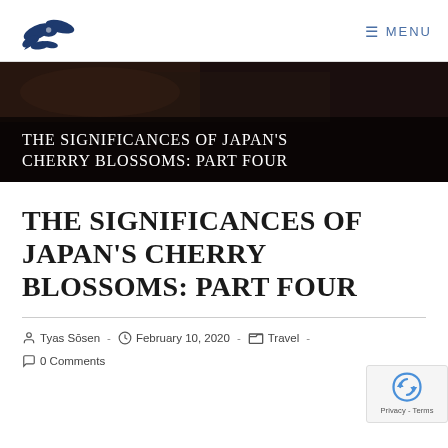Logo | MENU
[Figure (photo): Dark hero banner background with semi-transparent overlay containing article title text]
THE SIGNIFICANCES OF JAPAN'S CHERRY BLOSSOMS: PART FOUR
THE SIGNIFICANCES OF JAPAN'S CHERRY BLOSSOMS: PART FOUR
Post author: Tyas Sōsen - Post date: February 10, 2020 - Post category: Travel - 0 Comments